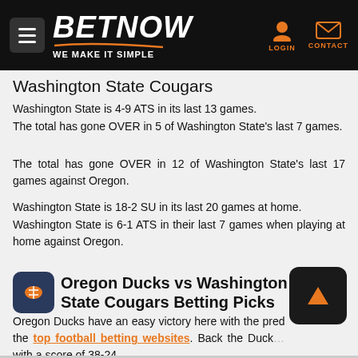BETNOW — WE MAKE IT SIMPLE
Washington State Cougars
Washington State is 4-9 ATS in its last 13 games.
The total has gone OVER in 5 of Washington State's last 7 games.
The total has gone OVER in 12 of Washington State's last 17 games against Oregon.
Washington State is 18-2 SU in its last 20 games at home.
Washington State is 6-1 ATS in their last 7 games when playing at home against Oregon.
Oregon Ducks vs Washington State Cougars Betting Picks
Oregon Ducks have an easy victory here with the pre... the top football betting websites. Back the Duck... with a score of 38-24.